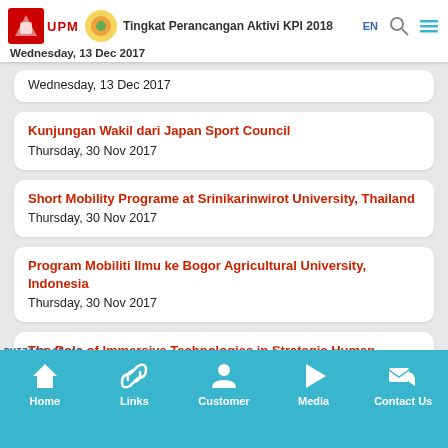Tingkat Perancangan Aktivi KPI 2018 | Wednesday, 13 Dec 2017
Kunjungan Wakil dari Japan Sport Council
Thursday, 30 Nov 2017
Short Mobility Programe at Srinikarinwirot University, Thailand
Thursday, 30 Nov 2017
Program Mobiliti Ilmu ke Bogor Agricultural University, Indonesia
Thursday, 30 Nov 2017
The Role of Immersive Technologies in Strategic Human Resource Development
Home | Links | Customer | Media | Contact Us